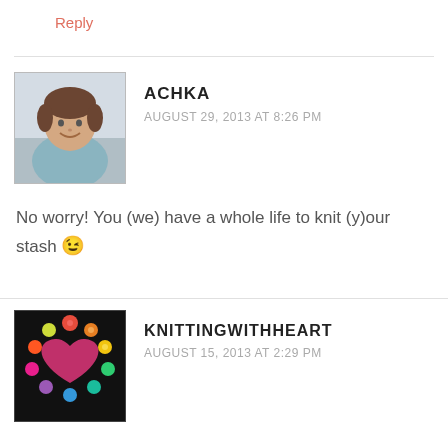Reply
[Figure (photo): Avatar photo of Achka, a woman with short brown hair wearing a light blue top, smiling]
ACHKA
AUGUST 29, 2013 AT 8:26 PM
No worry! You (we) have a whole life to knit (y)our stash 😉
[Figure (illustration): Avatar for KnittingWithHeart: a rainbow of colorful yarn balls arranged in a circle around a pink/red heart on a black background]
KNITTINGWITHHEART
AUGUST 15, 2013 AT 2:29 PM
almost ❤ TWO ❤ full ❤ FLOORS ❤ of ❤ YARN ❤ shops... !!!